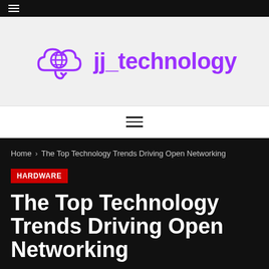[Figure (logo): jj_technology logo with cloud and globe icon in purple]
Home > The Top Technology Trends Driving Open Networking
HARDWARE
The Top Technology Trends Driving Open Networking